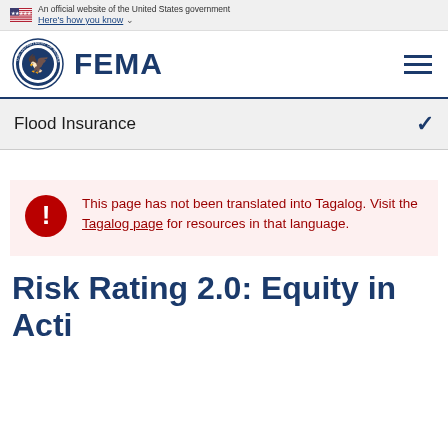An official website of the United States government Here's how you know
[Figure (logo): FEMA logo with DHS seal and FEMA wordmark]
Flood Insurance
This page has not been translated into Tagalog. Visit the Tagalog page for resources in that language.
Risk Rating 2.0: Equity in Acti...